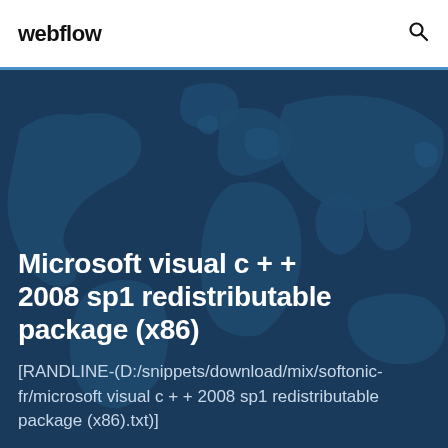webflow
Microsoft visual c + + 2008 sp1 redistributable package (x86)
[RANDLINE-(D:/snippets/download/mix/softonic-fr/microsoft visual c + + 2008 sp1 redistributable package (x86).txt)]